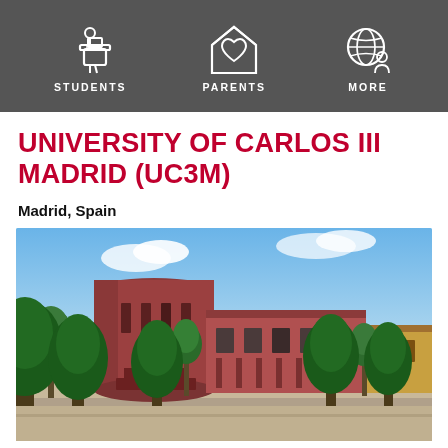STUDENTS  PARENTS  MORE
UNIVERSITY OF CARLOS III MADRID (UC3M)
Madrid, Spain
[Figure (photo): Exterior photograph of the University of Carlos III Madrid campus buildings — red brick modernist architecture with a cylindrical tower, flat-roofed wings, and green trees in the foreground under a blue sky.]